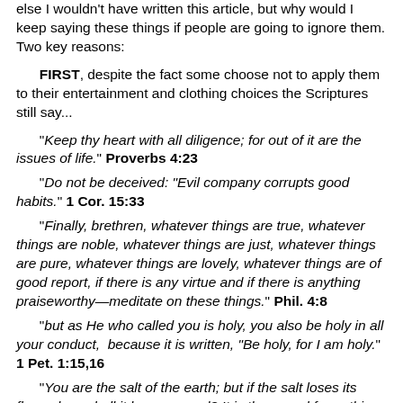else I wouldn't have written this article, but why would I keep saying these things if people are going to ignore them. Two key reasons:
FIRST, despite the fact some choose not to apply them to their entertainment and clothing choices the Scriptures still say...
“Keep thy heart with all diligence; for out of it are the issues of life.” Proverbs 4:23
“Do not be deceived: “Evil company corrupts good habits.” 1 Cor. 15:33
“Finally, brethren, whatever things are true, whatever things are noble, whatever things are just, whatever things are pure, whatever things are lovely, whatever things are of good report, if there is any virtue and if there is anything praiseworthy—meditate on these things.” Phil. 4:8
“but as He who called you is holy, you also be holy in all your conduct, because it is written, “Be holy, for I am holy.” 1 Pet. 1:15,16
“You are the salt of the earth; but if the salt loses its flavor, how shall it be seasoned? It is then good for nothing but to be thrown out and trampled underfoot by men. You are the light of the world. A city that is set on a hill cannot be hidden. Nor do they light a lamp and put it under a basket, but on a lampstand, and it gives light to all who are in the